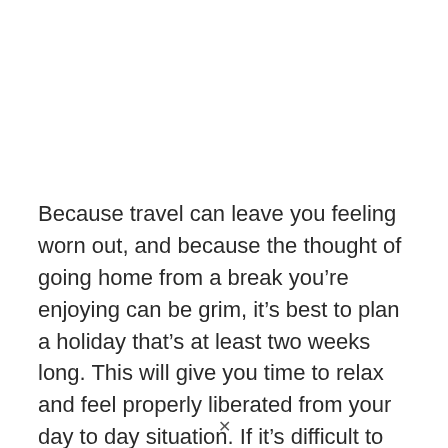Because travel can leave you feeling worn out, and because the thought of going home from a break you’re enjoying can be grim, it’s best to plan a holiday that’s at least two weeks long. This will give you time to relax and feel properly liberated from your day to day situation. If it’s difficult to get time off work, ask if you can sacrifice some pay for a
×